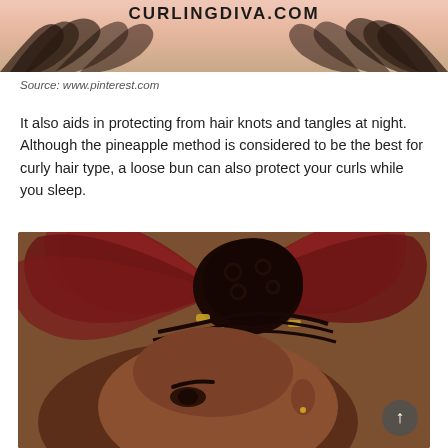[Figure (photo): Top banner image of curly hair with CURLINGDIVA.COM text overlay]
Source: www.pinterest.com
It also aids in protecting from hair knots and tangles at night. Although the pineapple method is considered to be the best for curly hair type, a loose bun can also protect your curls while you sleep.
[Figure (photo): Close-up photo of a woman with natural curly hair styled in a high bun with gold hair rings, surrounded by red tropical leaves]